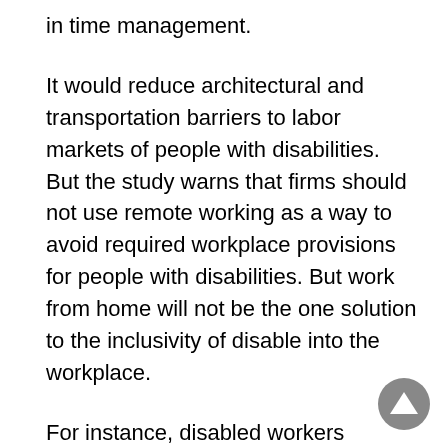in time management.
It would reduce architectural and transportation barriers to labor markets of people with disabilities. But the study warns that firms should not use remote working as a way to avoid required workplace provisions for people with disabilities. But work from home will not be the one solution to the inclusivity of disable into the workplace.
For instance, disabled workers disproportionately land on blue collar or service jobs that are not always well-suited for remote working. Depending on the disability, it can also distance can be an impediment like for workers who have hearing